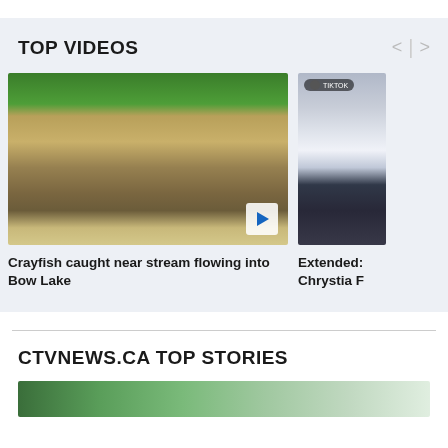TOP VIDEOS
[Figure (photo): Thumbnail of a crayfish on a ruler, video card for 'Crayfish caught near stream flowing into Bow Lake']
Crayfish caught near stream flowing into Bow Lake
[Figure (photo): Partially visible TikTok video thumbnail showing a person, second video card partially cut off at right edge]
Extended: Chrystia F
CTVNEWS.CA TOP STORIES
[Figure (photo): Partially visible story image at bottom, green tones, cut off by page edge]